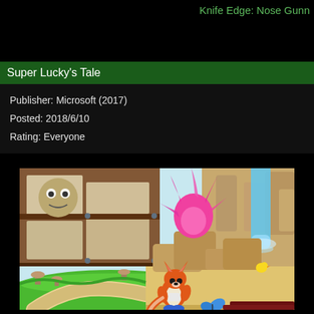Knife Edge: Nose Gunn
Super Lucky's Tale
Publisher: Microsoft (2017)
Posted: 2018/6/10
Rating: Everyone
[Figure (screenshot): Screenshot from Super Lucky's Tale video game showing a colorful 3D platformer scene with a fox character (Lucky) standing on sandy ground near rocky terrain with a waterfall, green grass areas, wooden structures with stone decorations, a pink feathery creature, and a small yellow bird.]